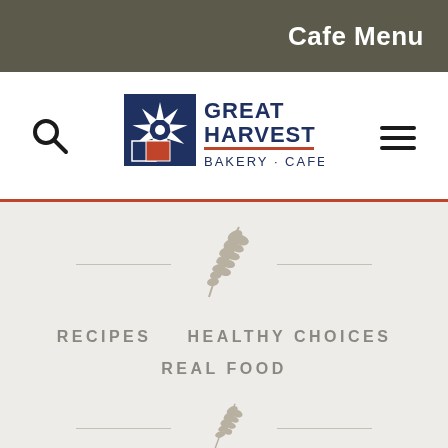Cafe Menu
[Figure (logo): Great Harvest Bakery Cafe logo with windmill/wheat graphic and navy blue text]
RECIPES   HEALTHY CHOICES
REAL FOOD